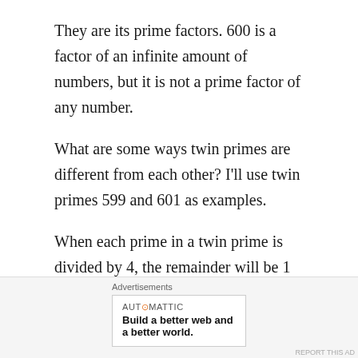They are its prime factors. 600 is a factor of an infinite amount of numbers, but it is not a prime factor of any number.
What are some ways twin primes are different from each other? I'll use twin primes 599 and 601 as examples.
When each prime in a twin prime is divided by 4, the remainder will be 1 for one of them and 3 for the other. The one that has a remainder of 1 will be the sum of two square numbers and will also be the hypotenuse of a primitive Pythagorean triple. The one with a remainder of 3 will never be either of those things. In the triple and twin primes listed above 5, 13, 17, 29, 41, and 601 have a
Advertisements
AUTOMATTIC
Build a better web and a better world.